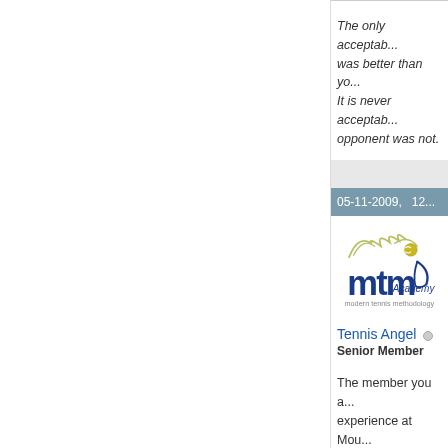The only acceptable excuse was better than yo... It is never acceptable that opponent was not.
05-11-2009,   12...
[Figure (logo): MTM Academy - Modern Tennis Methodology logo with stylized player and ball]
Tennis Angel  Senior Member
The member you a... experience at Mou...
How good can yo... play like the Pro...